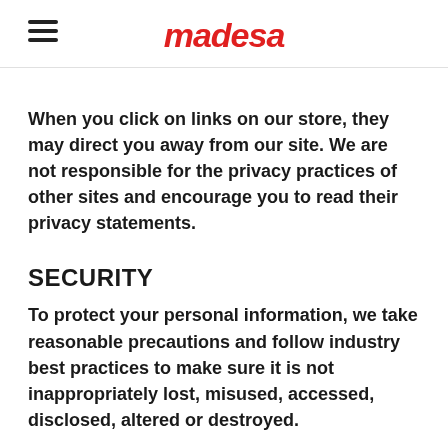madesa
When you click on links on our store, they may direct you away from our site. We are not responsible for the privacy practices of other sites and encourage you to read their privacy statements.
SECURITY
To protect your personal information, we take reasonable precautions and follow industry best practices to make sure it is not inappropriately lost, misused, accessed, disclosed, altered or destroyed.